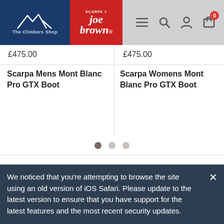[Figure (screenshot): Website header with The Climbers Shop and Joe Brown logos on left, navigation icons (hamburger menu, search, account, cart with 0 badge) on right, gray background]
£475.00
Scarpa Mens Mont Blanc Pro GTX Boot
£475.00
Scarpa Womens Mont Blanc Pro GTX Boot
[Figure (other): Carousel pagination dots: three dots, first filled dark, second and third lighter]
Home › Mountaineering › Footwear › Scarpa › Mountain Boots
[Figure (other): Map/location icon outline in dark color on gray background]
We noticed that you're attempting to browse the site using an old version of iOS Safari. Please update to the latest version to ensure that you have support for the latest features and the most recent security updates.